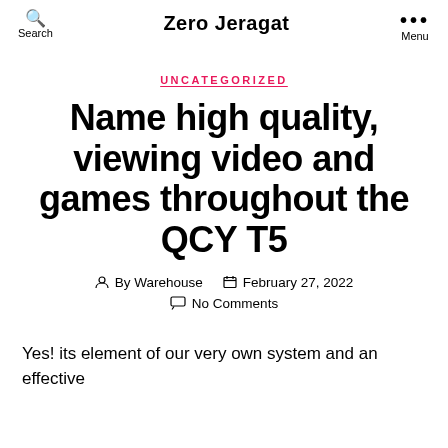Search  Zero Jeragat  Menu
UNCATEGORIZED
Name high quality, viewing video and games throughout the QCY T5
By Warehouse  February 27, 2022  No Comments
Yes! its element of our very own system and an effective